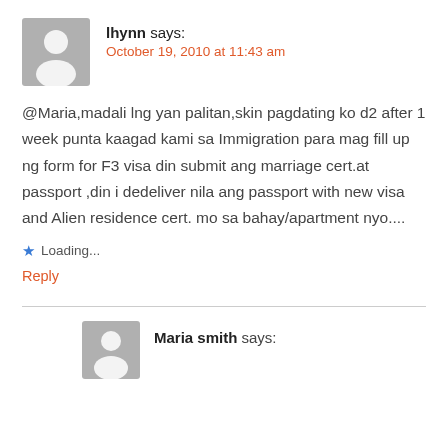[Figure (illustration): Generic user avatar icon - grey square with white silhouette of a person]
lhynn says:
October 19, 2010 at 11:43 am
@Maria,madali lng yan palitan,skin pagdating ko d2 after 1 week punta kaagad kami sa Immigration para mag fill up ng form for F3 visa din submit ang marriage cert.at passport ,din i dedeliver nila ang passport with new visa and Alien residence cert. mo sa bahay/apartment nyo....
★ Loading...
Reply
[Figure (illustration): Generic user avatar icon - grey square with white silhouette of a person, smaller]
Maria smith says: